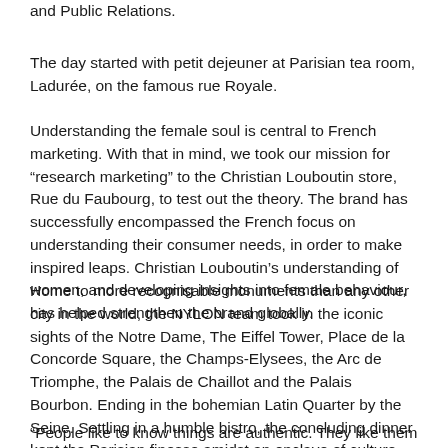and Public Relations.
The day started with petit dejeuner at Parisian tea room, Ladurée, on the famous rue Royale.
Understanding the female soul is central to French marketing. With that in mind, we took our mission for “research marketing” to the Christian Louboutin store, Rue du Faubourg, to test out the theory. The brand has successfully encompassed the French focus on understanding their consumer needs, in order to make inspired leaps. Christian Louboutin’s understanding of women, and developing insights into female behaviour, has helped strengthen the brand globally.
Home to more recognisable monuments than any other city in the world, the NYLON team took in the iconic sights of the Notre Dame, The Eiffel Tower, Place de la Concorde Square, the Champs-Elysees, the Arc de Triomphe, the Palais de Chaillot and the Palais Bourbon. Ending in the bohemian Latin Quarter by the Seine. Settling in a humble bistro, the concluding dinner kept the Parisian finesse amidst an enclave of culture.
“People like to know things are authentic. They like them to